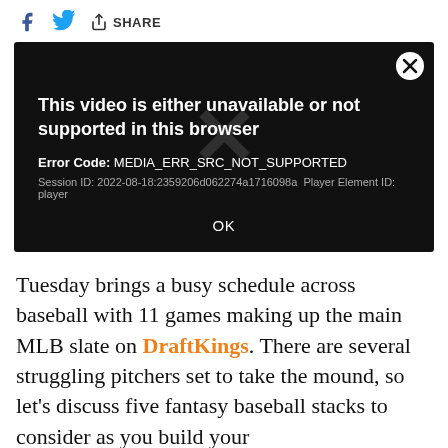[Figure (screenshot): Social share bar with Facebook icon, Twitter bird icon, and SHARE button with share icon]
[Figure (screenshot): Video player error screen on black background showing: 'This video is either unavailable or not supported in this browser', Error Code: MEDIA_ERR_SRC_NOT_SUPPORTED, Session ID: 2022-08-18:2359206d062274a1716098a Player Element ID: player, large X watermark, and OK button]
Tuesday brings a busy schedule across baseball with 11 games making up the main MLB slate on DraftKings. There are several struggling pitchers set to take the mound, so let’s discuss five fantasy baseball stacks to consider as you build your